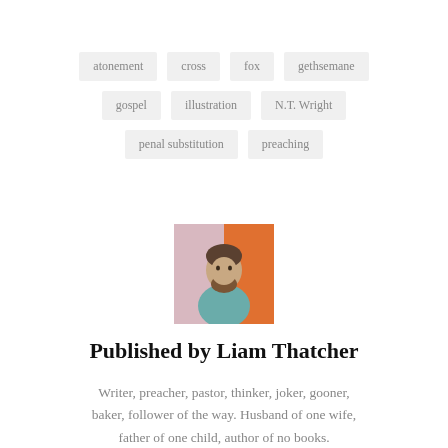atonement
cross
fox
gethsemane
gospel
illustration
N.T. Wright
penal substitution
preaching
[Figure (photo): Headshot photo of Liam Thatcher, a bearded man in a teal shirt in front of an orange background]
Published by Liam Thatcher
Writer, preacher, pastor, thinker, joker, gooner, baker, follower of the way. Husband of one wife, father of one child, author of no books.
View all posts by Liam Thatcher